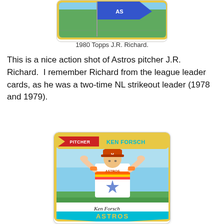[Figure (photo): Top portion of a 1980 Topps J.R. Richard baseball card showing pennant/flag on green background]
1980 Topps J.R. Richard.
This is a nice action shot of Astros pitcher J.R. Richard.  I remember Richard from the league leader cards, as he was a two-time NL strikeout leader (1978 and 1979).
[Figure (photo): 1980 Topps baseball card of Ken Forsch, Pitcher for the Houston Astros. Shows player in Astros rainbow uniform with hands behind head. Card has yellow border, red PITCHER pennant flag, cyan KEN FORSCH name, and cyan ASTROS bottom banner with signature.]